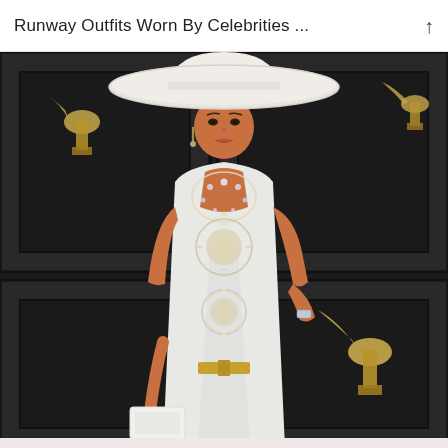Runway Outfits Worn By Celebrities ...
[Figure (photo): A celebrity (Jennifer Lopez) posing on a red carpet event (Grammy Awards) wearing a white form-fitting sleeveless gown with elaborate crystal/rhinestone embellishments at the neckline and bodice, and a large wide-brim white hat. She holds a white clutch purse and wears a gold belt. Grammy Award trophies (gold gramophone statues) are visible in the background against dark panels.]